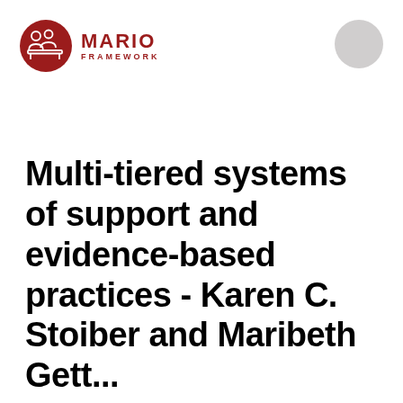[Figure (logo): MARIO FRAMEWORK logo: dark red circle with white icon of two people, next to bold red text 'MARIO' and smaller text 'FRAMEWORK']
Multi-tiered systems of support and evidence-based practices - Karen C. Stoiber and Maribeth Gettinger